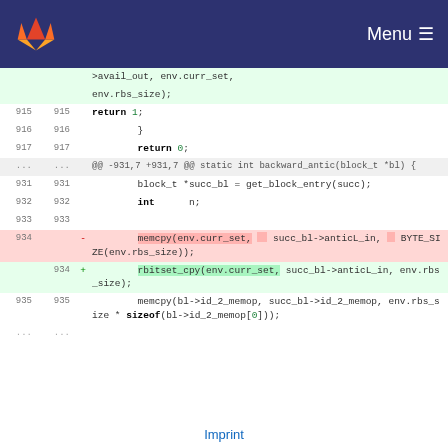GitLab Menu
Code diff showing lines 915-935 with a change from memcpy to rbitset_cpy
Imprint